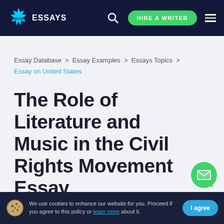WOW ESSAYS | HIRE A WRITER
Essay Database > Essay Examples > Essays Topics > Essay on United States
The Role of Literature and Music in the Civil Rights Movement Essay
We use cookies to enhance our website for you. Proceed if you agree to this policy or learn more about it. | I agree